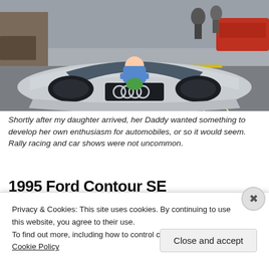[Figure (photo): A baby/toddler in a blue outfit lying on the hood of a silver Audi TT sports car, front view showing the four-ring Audi logo on the grille. Street scene in background with other cars and people.]
Shortly after my daughter arrived, her Daddy wanted something to develop her own enthusiasm for automobiles, or so it would seem. Rally racing and car shows were not uncommon.
1995 Ford Contour SE
[Figure (photo): Partial view of a dark image strip, likely beginning of a photo of the 1995 Ford Contour SE, partially obscured by cookie consent banner.]
Privacy & Cookies: This site uses cookies. By continuing to use this website, you agree to their use.
To find out more, including how to control cookies, see here: Cookie Policy